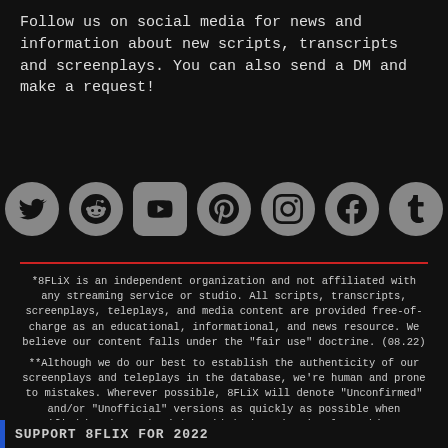Follow us on social media for news and information about new scripts, transcripts and screenplays. You can also send a DM and make a request!
[Figure (illustration): Row of seven social media icons: Twitter, Reddit, YouTube, Pinterest, Instagram, Facebook, Tumblr]
*8FLiX is an independent organization and not affiliated with any streaming service or studio. All scripts, transcripts, screenplays, teleplays, and media content are provided free-of-charge as an educational, informational, and news resource. We believe our content falls under the "fair use" doctrine. (08.22)
**Although we do our best to establish the authenticity of our screenplays and teleplays in the database, we're human and prone to mistakes. Wherever possible, 8FLiX will denote "Unconfirmed" and/or "Unofficial" versions as quickly as possible when notified by the author(s). Said designation is also subject to change at anytime without notice. (08.22)
SUPPORT 8FLIX FOR 2022